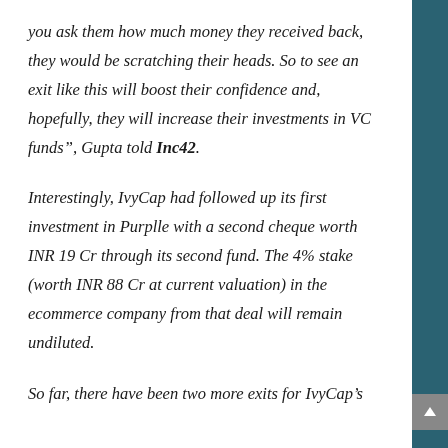you ask them how much money they received back, they would be scratching their heads. So to see an exit like this will boost their confidence and, hopefully, they will increase their investments in VC funds”, Gupta told Inc42.
Interestingly, IvyCap had followed up its first investment in Purplle with a second cheque worth INR 19 Cr through its second fund. The 4% stake (worth INR 88 Cr at current valuation) in the ecommerce company from that deal will remain undiluted.
So far, there have been two more exits for IvyCap’s